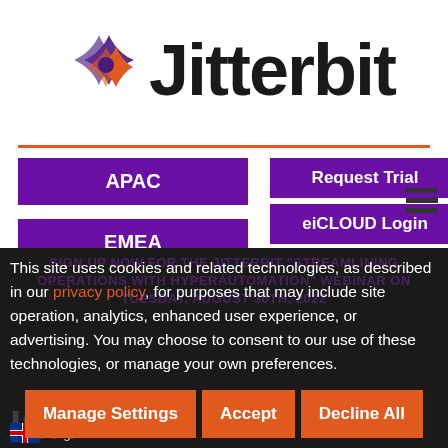[Figure (logo): Jitterbit logo with purple and orange star/asterisk icon and bold black Jitterbit wordmark]
APAC
EMEA
Request Trial
eiCLOUD Login
Harmony Login
SIGN UP NOW FOR THE JITTERBIT "STREAMLINING OPERATIONS WITH HYPERAUTOMATION" WEBINAR ON TUESDAY, AUGUST 30TH, 2022
This site uses cookies and related technologies, as described in our privacy policy, for purposes that may include site operation, analytics, enhanced user experience, or advertising. You may choose to consent to our use of these technologies, or manage your own preferences.
Manage Settings
Accept
Decline All